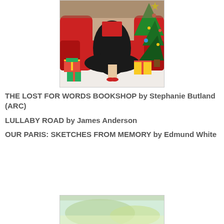[Figure (illustration): Illustrated image of a woman in a black dress and red heels sitting reading a red book on a red sofa with a Christmas tree and wrapped gifts around her]
THE LOST FOR WORDS BOOKSHOP by Stephanie Butland (ARC)
LULLABY ROAD by James Anderson
OUR PARIS: SKETCHES FROM MEMORY by Edmund White
[Figure (illustration): Partial view of a book cover with green and yellow watercolor-style background]